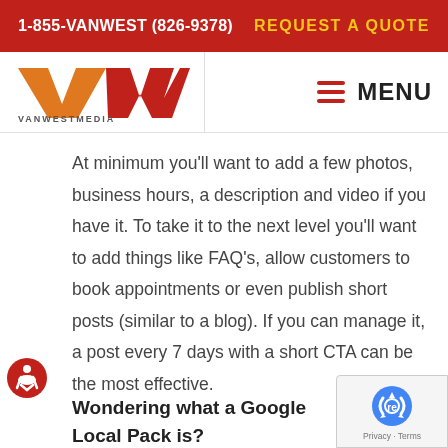1-855-VANWEST (826-9378)    REQUEST A QUOTE
[Figure (logo): VanWest Media logo with stylized VWM text and VANWESTMEDIA wordmark below, and hamburger menu icon with MENU text]
At minimum you'll want to add a few photos, business hours, a description and video if you have it. To take it to the next level you'll want to add things like FAQ's, allow customers to book appointments or even publish short posts (similar to a blog). If you can manage it, a post every 7 days with a short CTA can be the most effective.
Wondering what a Google Local Pack is?